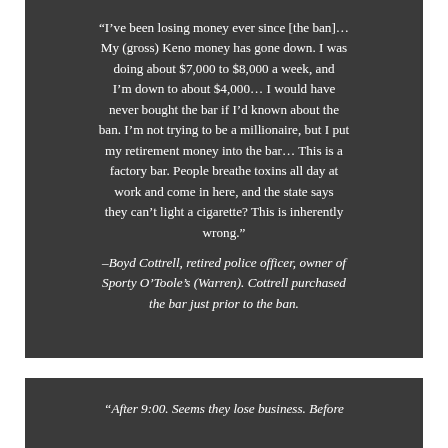“I’ve been losing money ever since [the ban]… My (gross) Keno money has gone down. I was doing about $7,000 to $8,000 a week, and I’m down to about $4,000… I would have never bought the bar if I’d known about the ban. I’m not trying to be a millionaire, but I put my retirement money into the bar… This is a factory bar. People breathe toxins all day at work and come in here, and the state says they can’t light a cigarette? This is inherently wrong.”
–Boyd Cottrell, retired police officer, owner of Sporty O’Toole’s (Warren). Cottrell purchased the bar just prior to the ban.